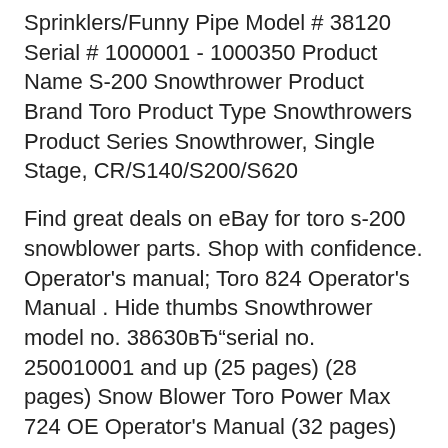Sprinklers/Funny Pipe Model # 38120 Serial # 1000001 - 1000350 Product Name S-200 Snowthrower Product Brand Toro Product Type Snowthrowers Product Series Snowthrower, Single Stage, CR/S140/S200/S620
Find great deals on eBay for toro s-200 snowblower parts. Shop with confidence. Operator's manual; Toro 824 Operator's Manual . Hide thumbs Snowthrower model no. 38630вЂ"serial no. 250010001 and up (25 pages) (28 pages) Snow Blower Toro Power Max 724 OE Operator's Manual (32 pages) Snow Blower Toro 38472 Operator's Manual (24 pages) Snow Blower Toro Snow Master 724 THP 38800 Operator's manual